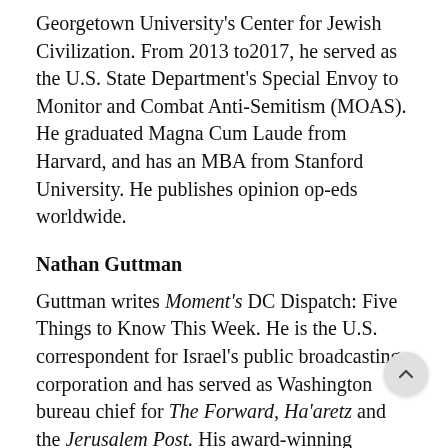Georgetown University's Center for Jewish Civilization. From 2013 to2017, he served as the U.S. State Department's Special Envoy to Monitor and Combat Anti-Semitism (MOAS). He graduated Magna Cum Laude from Harvard, and has an MBA from Stanford University. He publishes opinion op-eds worldwide.
Nathan Guttman
Guttman writes Moment's DC Dispatch: Five Things to Know This Week. He is the U.S. correspondent for Israel's public broadcasting corporation and has served as Washington bureau chief for The Forward, Ha'aretz and the Jerusalem Post. His award-winning reporting has included coverage of the highs and lows of the Middle East peace process and the role of